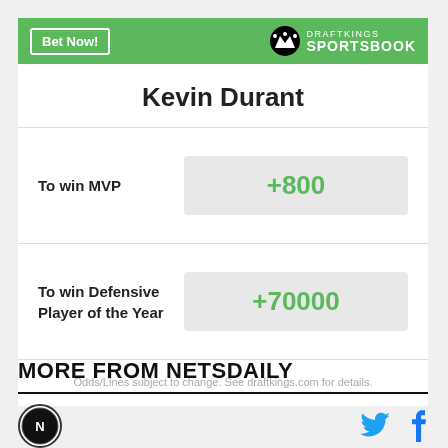[Figure (logo): DraftKings Sportsbook logo with Bet Now button on green header bar]
Kevin Durant
| Bet | Odds |
| --- | --- |
| To win MVP | +800 |
| To win Defensive Player of the Year | +70000 |
Odds/Lines subject to change. See draftkings.com for details.
MORE FROM NETSDAILY
[Figure (logo): Netsdaily site logo and social media icons (Twitter and Facebook)]